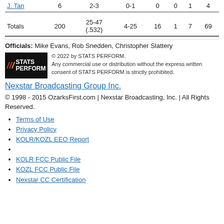| Player | MIN | FG | 3PT | REB | AST | TO | PTS |
| --- | --- | --- | --- | --- | --- | --- | --- |
| J. Tan | 6 | 2-3 | 0-1 | 0 | 0 | 1 | 4 |
| Totals | 200 | 25-47 (.532) | 4-25 | 16 | 1 | 7 | 69 |
Officials: Mike Evans, Rob Snedden, Christopher Slattery
[Figure (logo): Stats Perform logo - black background with red/orange slashes and white STATS PERFORM text]
© 2022 by STATS PERFORM. Any commercial use or distribution without the express written consent of STATS PERFORM is strictly prohibited.
Nexstar Broadcasting Group Inc.
© 1998 - 2015 OzarksFirst.com | Nexstar Broadcasting, Inc. | All Rights Reserved.
Terms of Use
Privacy Policy
KOLR/KOZL EEO Report
KOLR FCC Public File
KOZL FCC Public File
Nexstar CC Certification